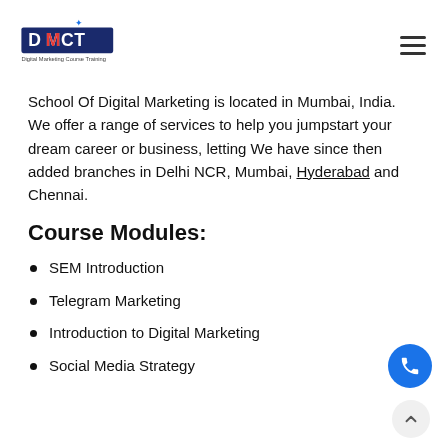DMCT Digital Marketing Course Training logo and navigation
School Of Digital Marketing is located in Mumbai, India. We offer a range of services to help you jumpstart your dream career or business, letting We have since then added branches in Delhi NCR, Mumbai, Hyderabad and Chennai.
Course Modules:
SEM Introduction
Telegram Marketing
Introduction to Digital Marketing
Social Media Strategy